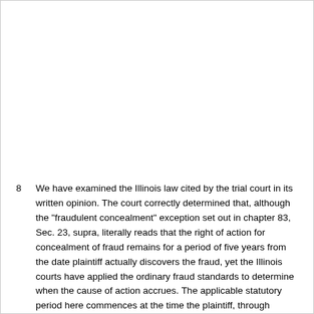8   We have examined the Illinois law cited by the trial court in its written opinion. The court correctly determined that, although the "fraudulent concealment" exception set out in chapter 83, Sec. 23, supra, literally reads that the right of action for concealment of fraud remains for a period of five years from the date plaintiff actually discovers the fraud, yet the Illinois courts have applied the ordinary fraud standards to determine when the cause of action accrues. The applicable statutory period here commences at the time the plaintiff, through ordinary diligence, should have discovered the fraudulent actions causing its injury. "Mere silence of the defendant and mere failure on the part of the complainant to learn of a cause of action do